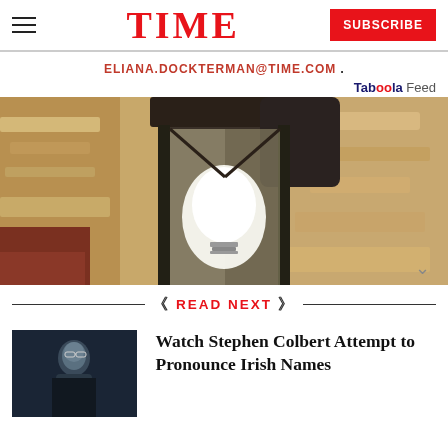TIME  SUBSCRIBE
ELIANA.DOCKTERMAN@TIME.COM .
Taboola Feed
[Figure (photo): Close-up photo of a black wrought-iron outdoor lantern with a glowing white light bulb, mounted on a textured stucco wall]
READ NEXT
[Figure (photo): Thumbnail photo of a man in dark clothing against a dark background]
Watch Stephen Colbert Attempt to Pronounce Irish Names